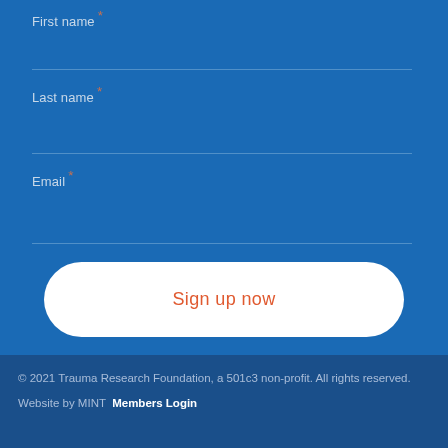First name *
Last name *
Email *
Sign up now
© 2021 Trauma Research Foundation, a 501c3 non-profit. All rights reserved.
Website by MINT  Members Login